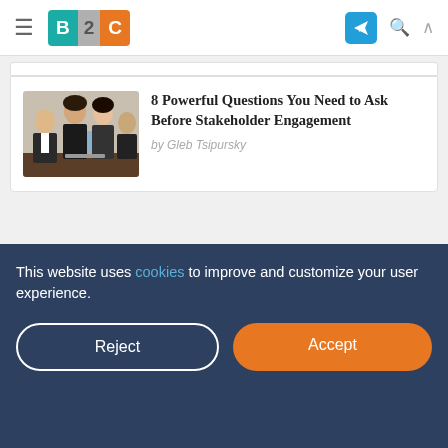B2C — Business 2 Community
[Figure (photo): Business meeting photo showing professionals around a laptop]
8 Powerful Questions You Need to Ask Before Stakeholder Engagement
by Gleb Tsipursky
MORE DIGITAL & SOCIAL
↑ VIEW ALL
economic concerns, marketplace uncertainties, supply chain disruptions and internet crimes
This website uses cookies to improve and customize your user experience.